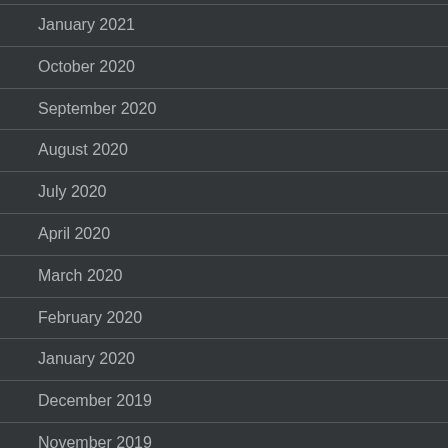January 2021
October 2020
September 2020
August 2020
July 2020
April 2020
March 2020
February 2020
January 2020
December 2019
November 2019